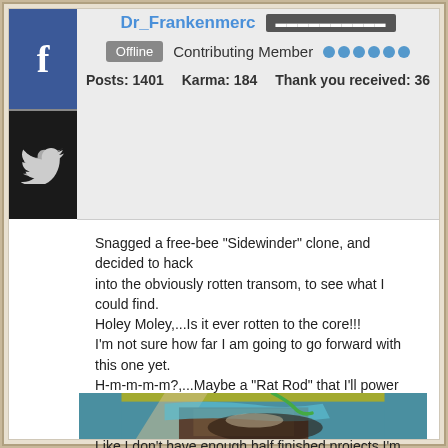Dr_Frankenmerc | Contributing Member | Offline | Posts: 1401 | Karma: 184 | Thank you received: 36
Snagged a free-bee "Sidewinder" clone, and decided to hack into the obviously rotten transom, to see what I could find. Holey Moley,...Is it ever rotten to the core!!! I'm not sure how far I am going to go forward with this one yet. H-m-m-m-m?,...Maybe a "Rat Rod" that I'll power with 1500xs, or maybe<...A Twister??? Like I don't have enough half finished projects I'm tripping over. GULP doc
[Figure (photo): Photo of a rotten boat transom with teal/blue fiberglass, exposed rotted wood core, and a green hose visible]